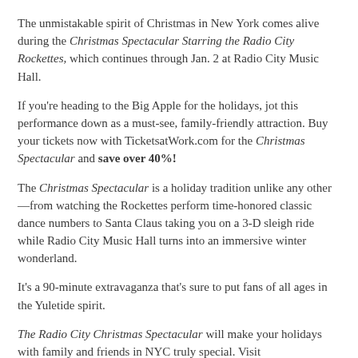The unmistakable spirit of Christmas in New York comes alive during the Christmas Spectacular Starring the Radio City Rockettes, which continues through Jan. 2 at Radio City Music Hall.
If you're heading to the Big Apple for the holidays, jot this performance down as a must-see, family-friendly attraction. Buy your tickets now with TicketsatWork.com for the Christmas Spectacular and save over 40%!
The Christmas Spectacular is a holiday tradition unlike any other—from watching the Rockettes perform time-honored classic dance numbers to Santa Claus taking you on a 3-D sleigh ride while Radio City Music Hall turns into an immersive winter wonderland.
It's a 90-minute extravaganza that's sure to put fans of all ages in the Yuletide spirit.
The Radio City Christmas Spectacular will make your holidays with family and friends in NYC truly special. Visit TicketsatWork.com today for the Radio City Christmas Spectacular tickets — and save over 40%!